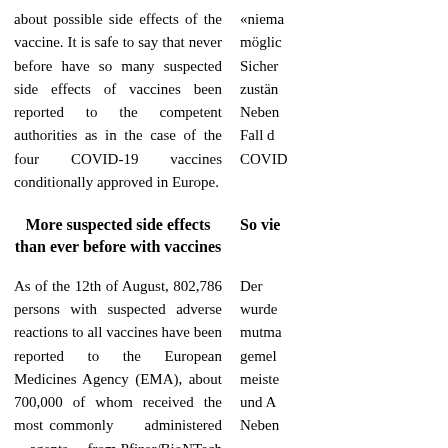about possible side effects of the vaccine. It is safe to say that never before have so many suspected side effects of vaccines been reported to the competent authorities as in the case of the four COVID-19 vaccines conditionally approved in Europe.
«niema… möglic… Sicher… zustän… Neben… Fall d… COVID…
More suspected side effects than ever before with vaccines
So vie…
As of the 12th of August, 802,786 persons with suspected adverse reactions to all vaccines have been reported to the European Medicines Agency (EMA), about 700,000 of whom received the most commonly administered agents from Pfizer/BioNTech and AstraZeneca. According to various studies, only about one percent or less of
Der … wurde… mutma… gemel… meiste… und A… Neben…